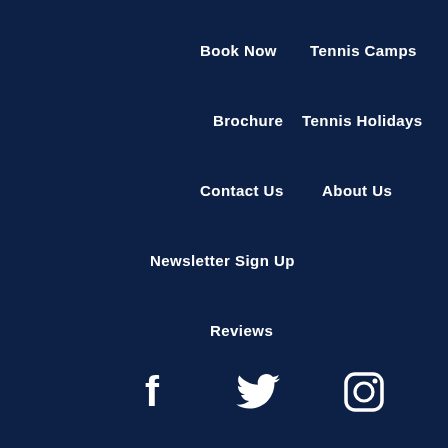Book Now
Tennis Camps
Brochure
Tennis Holidays
Contact Us
About Us
Newsletter Sign Up
Reviews
[Figure (other): Social media icons: Facebook, Twitter, Instagram]